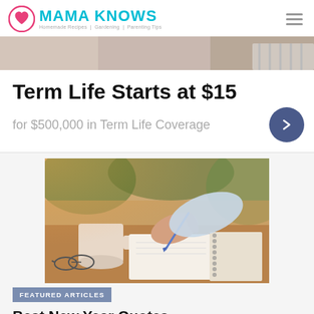MAMA KNOWS — Homemade Recipes | Gardening | Parenting Tips
[Figure (photo): Partial hero banner image of a person in a striped shirt]
Term Life Starts at $15
for $500,000 in Term Life Coverage
[Figure (photo): Person writing in a notebook on a wooden desk with glasses and a coffee mug]
FEATURED ARTICLES
Best New Year Quotes
DECEMBER 27, 2018 | BY MAMALIFETRAPPER